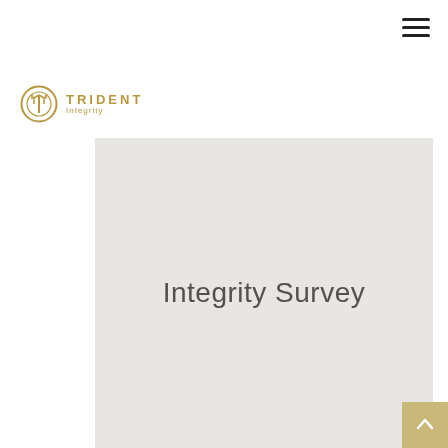[Figure (logo): Trident Integrity logo with circular emblem and text 'TRIDENT Integrity' in gold]
Integrity Survey